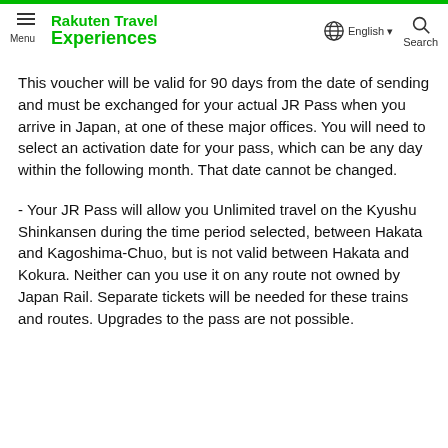Rakuten Travel Experiences — Menu | English | Search
This voucher will be valid for 90 days from the date of sending and must be exchanged for your actual JR Pass when you arrive in Japan, at one of these major offices. You will need to select an activation date for your pass, which can be any day within the following month. That date cannot be changed.
- Your JR Pass will allow you Unlimited travel on the Kyushu Shinkansen during the time period selected, between Hakata and Kagoshima-Chuo, but is not valid between Hakata and Kokura. Neither can you use it on any route not owned by Japan Rail. Separate tickets will be needed for these trains and routes. Upgrades to the pass are not possible.